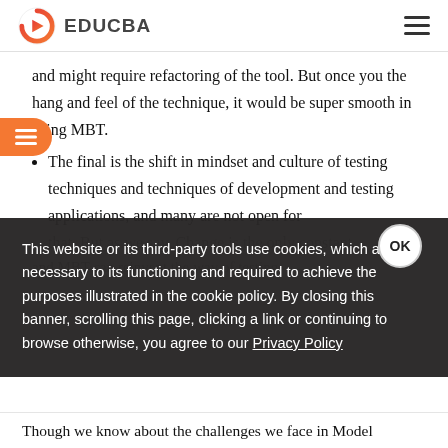EDUCBA
and might require refactoring of the tool. But once you the hang and feel of the technique, it would be super smooth in using MBT.
The final is the shift in mindset and culture of testing techniques and techniques of development and testing applications, and many are not open for that. But as we say, Change is the only constant and MBT can reinvent the way of testing.
This website or its third-party tools use cookies, which are necessary to its functioning and required to achieve the purposes illustrated in the cookie policy. By closing this banner, scrolling this page, clicking a link or continuing to browse otherwise, you agree to our Privacy Policy
Though we know about the challenges we face in Model